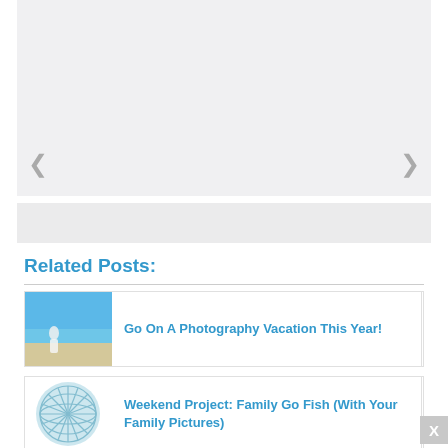[Figure (screenshot): Image slideshow/carousel area with light gray placeholder background and navigation arrows on left and right sides, with a thumbnail strip at the bottom]
Related Posts:
[Figure (photo): Thumbnail photo of a beach scene with a person in white dress, used as related post image for 'Go On A Photography Vacation This Year!']
Go On A Photography Vacation This Year!
[Figure (illustration): Light blue circular icon with a geometric geodesic/globe wireframe design, used as related post thumbnail for 'Weekend Project: Family Go Fish (With Your Family Pictures)']
Weekend Project: Family Go Fish (With Your Family Pictures)